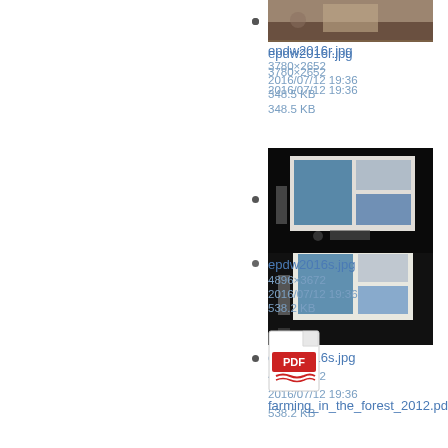[Figure (photo): Thumbnail of conference room photo (epdw2016r.jpg)]
epdw2016r.jpg
3780×2652
2016/07/12 19:36
348.5 KB
[Figure (photo): Thumbnail of presentation/projector screen photo (epdw2016s.jpg)]
epdw2016s.jpg
4896×3672
2016/07/12 19:36
538.2 KB
[Figure (other): PDF file icon for farming_in_the_forest_2012.pdf]
farming_in_the_forest_2012.pdf
2015/06/23 17:46
913.7 KB
[Figure (map): Thumbnail of Europe map image (feurdean_2008.png)]
feurdean_2008.png
1500×877
2015/06/23 17:46